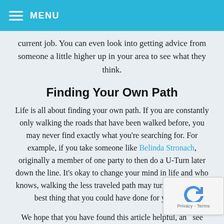☰ MENU
current job. You can even look into getting advice from someone a little higher up in your area to see what they think.
Finding Your Own Path
Life is all about finding your own path. If you are constantly only walking the roads that have been walked before, you may never find exactly what you're searching for. For example, if you take someone like Belinda Stronach, originally a member of one party to then do a U-Turn later down the line. It's okay to change your mind in life and who knows, walking the less traveled path may turn out to be the best thing that you could have done for yourself.
We hope that you have found this article helpful, and see some of the things that you need to know about your...